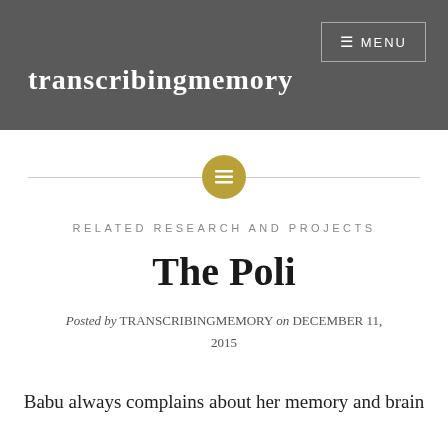transcribingmemory
[Figure (other): Horizontal divider with centered circular gold icon containing lines/menu symbol]
RELATED RESEARCH AND PROJECTS
The Poli
Posted by TRANSCRIBINGMEMORY on DECEMBER 11, 2015
Babu always complains about her memory and brain